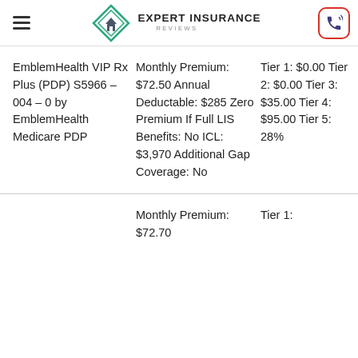Expert Insurance Reviews
| Plan Name | Plan Details | Drug Tiers |
| --- | --- | --- |
| EmblemHealth VIP Rx Plus (PDP) S5966 – 004 – 0 by EmblemHealth Medicare PDP | Monthly Premium: $72.50 Annual Deductable: $285 Zero Premium If Full LIS Benefits: No ICL: $3,970 Additional Gap Coverage: No | Tier 1: $0.00 Tier 2: $0.00 Tier 3: $35.00 Tier 4: $95.00 Tier 5: 28% |
|  | Monthly Premium: $72.70 | Tier 1: |